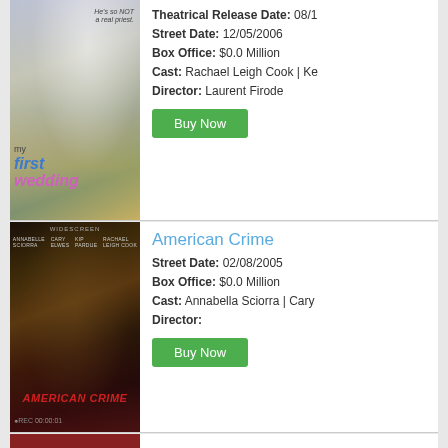[Figure (photo): Movie poster for My First Wedding showing a woman in white dress and man in black priest outfit with text 'He's so NOT a real priest' and colorful title text]
Theatrical Release Date:  08/1
Street Date:  12/05/2006
Box Office:  $0.0 Million
Cast:  Rachael Leigh Cook | Ke
Director:  Laurent Firode
Buy Now
[Figure (photo): Movie poster for American Crime showing dark gritty imagery with red title text and WIDESCREEN label at top, REC timecode at bottom]
American Crime
Street Date:  02/08/2005
Box Office:  $0.0 Million
Cast:  Annabella Sciorra | Cary
Director:
Buy Now
[Figure (photo): Partial view of a third movie poster, cropped at bottom of page]